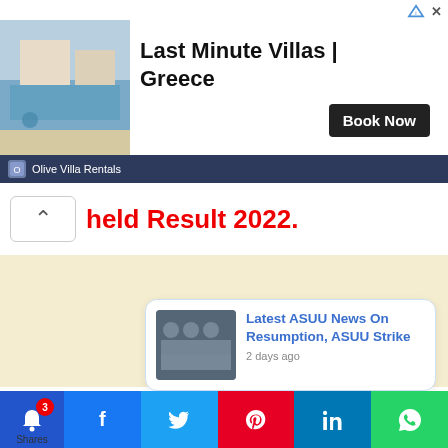[Figure (screenshot): Advertisement banner for Olive Villa Rentals showing villa with pool, text 'Last Minute Villas | Greece' and 'Book Now' button]
held Result 2022.
[Figure (screenshot): Beige/cream colored content area]
[Figure (screenshot): Notification card: 'Latest ASUU News On Resumption, ASUU Strike' - 2 days ago]
[Figure (screenshot): Bottom social sharing bar with bell (3), Shares, Facebook, Twitter, Pinterest, LinkedIn, WhatsApp buttons]